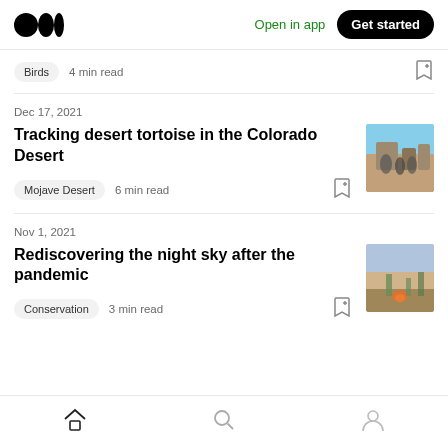Medium logo | Open in app | Get started
Birds  4 min read
Dec 17, 2021
Tracking desert tortoise in the Colorado Desert
Mojave Desert  6 min read
[Figure (photo): Desert landscape with people standing among large rocks]
Nov 1, 2021
Rediscovering the night sky after the pandemic
Conservation  3 min read
[Figure (photo): Campfire scene at night on a sandy beach]
Home | Search | Profile